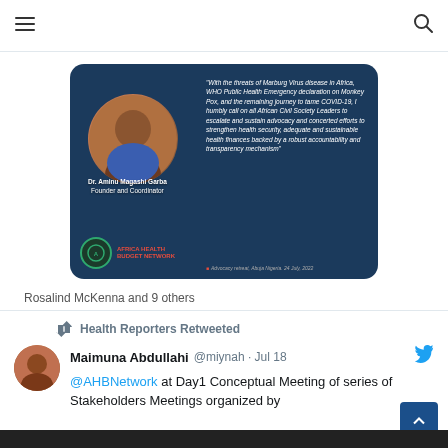≡ (menu) and search icon
[Figure (photo): Social media post image showing Dr. Aminu Magashi Garba, Founder and Coordinator of Africa Health Budget Network, with a quote about Marburg Virus disease, Monkey Pox, COVID-19, and a call to African Civil Society Leaders on health security, health finances, accountability and transparency. Source: Advocacy retreat, Abuja Nigeria, 24 July, 2022.]
Rosalind McKenna and 9 others
1 comment, 31 likes
Health Reporters Retweeted
Maimuna Abdullahi @miynah · Jul 18
@AHBNetwork at Day1 Conceptual Meeting of series of Stakeholders Meetings organized by